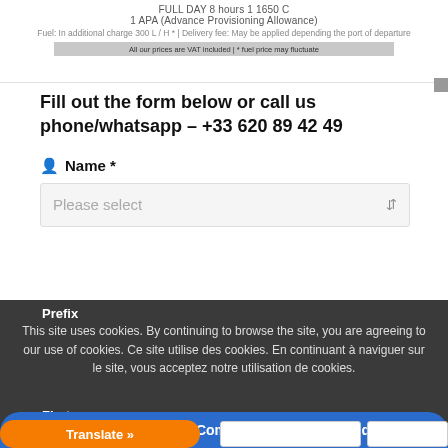FULL DAY 8 hours 1 1650 C
1 APA (Advance Provisioning Allowance)
Fuel: In additional charge 300 L / H * | Delivery fee: May be applied depending the port of departure
All our prices are VAT included | * fuel price may fluctuate
Fill out the form below or call us phone/whatsapp – +33 620 89 42 49
Name *
Please select
Prefix
This site uses cookies. By continuing to browse the site, you are agreeing to our use of cookies. Ce site utilise des cookies. En continuant à naviguer sur le site, vous acceptez notre utilisation de cookies.
First
Hello! How can I help you ?/Comment puis-je vous aid
Translate »